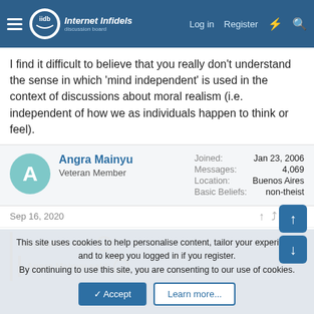Internet Infidels — Log in | Register
I find it difficult to believe that you really don't understand the sense in which 'mind independent' is used in the context of discussions about moral realism (i.e. independent of how we as individuals happen to think or feel).
| Field | Value |
| --- | --- |
| Joined: | Jan 23, 2006 |
| Messages: | 4,069 |
| Location: | Buenos Aires |
| Basic Beliefs: | non-theist |
Angra Mainyu — Veteran Member
Sep 16, 2020  #264
ruby sparks said:
Angra Mainyu said:
This site uses cookies to help personalise content, tailor your experience and to keep you logged in if you register.
By continuing to use this site, you are consenting to our use of cookies.